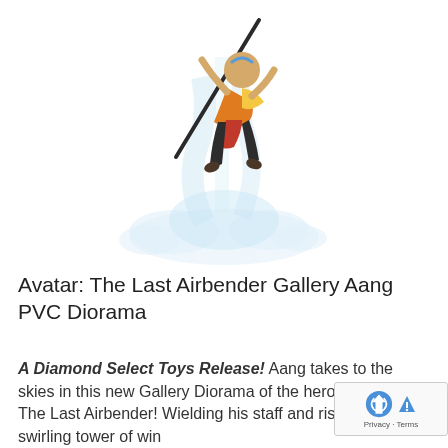[Figure (photo): A collectible PVC figure of Aang from Avatar: The Last Airbender, shown mid-air wielding his staff, rising on a swirling translucent tower of wind/air, with clear plastic swirling base effects.]
Avatar: The Last Airbender Gallery Aang PVC Diorama
A Diamond Select Toys Release! Aang takes to the skies in this new Gallery Diorama of the hero of Avatar: The Last Airbender! Wielding his staff and rising on a swirling tower of wind, Aang stands approximately 11 inches tall and